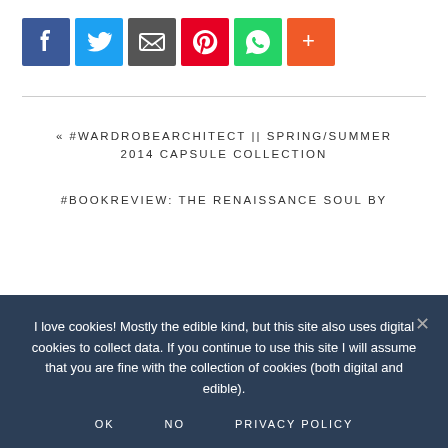[Figure (other): Row of social media share icon buttons: Facebook (blue), Twitter (light blue), Email/share (dark grey), Pinterest (red), WhatsApp (green), More/Plus (orange)]
« #WARDROBEARCHITECT || SPRING/SUMMER 2014 CAPSULE COLLECTION
#BOOKREVIEW: THE RENAISSANCE SOUL BY
I love cookies! Mostly the edible kind, but this site also uses digital cookies to collect data. If you continue to use this site I will assume that you are fine with the collection of cookies (both digital and edible).
OK   NO   PRIVACY POLICY